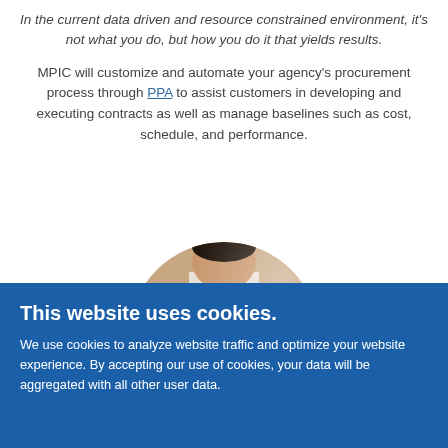In the current data driven and resource constrained environment, it's not what you do, but how you do it that yields results.
MPIC will customize and automate your agency's procurement process through PPA to assist customers in developing and executing contracts as well as manage baselines such as cost, schedule, and performance.
[Figure (photo): A person in business attire reading or reviewing a document/book, shown in a circular crop.]
This website uses cookies.
We use cookies to analyze website traffic and optimize your website experience. By accepting our use of cookies, your data will be aggregated with all other user data.